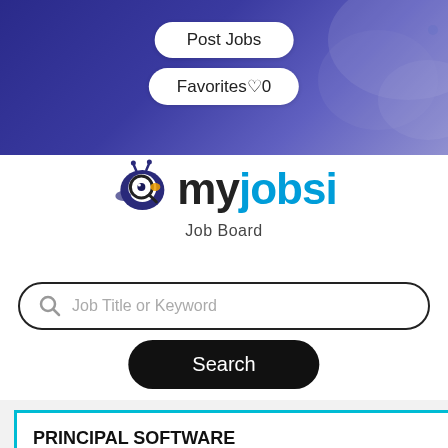Post Jobs
Favorites♡0
[Figure (logo): myjobsi Job Board logo with magnifying glass bird icon]
Job Title or Keyword
Search
PRINCIPAL SOFTWARE DEVELOPMENT ENGINEER IN TEST - APPLICATIONS